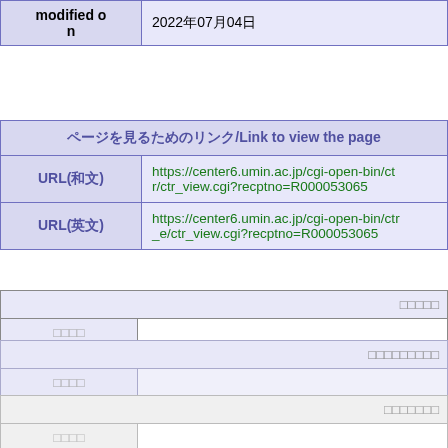| modified on |  |
| --- | --- |
| modified on | 2022年07月04日 |
| ページを見るためのリンク/Link to view the page |
| --- |
| URL(和文) | https://center6.umin.ac.jp/cgi-open-bin/ctr/ctr_view.cgi?recptno=R000053065 |
| URL(英文) | https://center6.umin.ac.jp/cgi-open-bin/ctr_e/ctr_view.cgi?recptno=R000053065 |
| □□□□□ |
| --- |
| □□□□ |  |
| □□□□□□□□□ |
| --- |
| □□□□ |  |
| □□□□□□□ |
| --- |
| □□□□ |  |